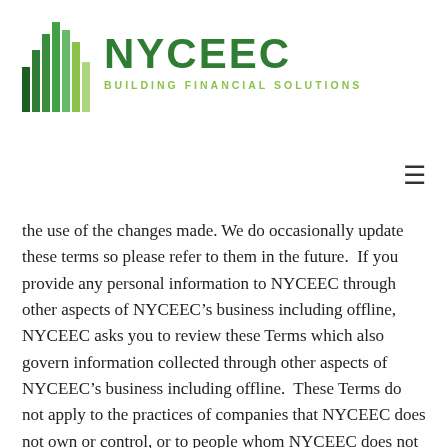[Figure (logo): NYCEEC logo with green bar chart icon and text 'NYCEEC BUILDING FINANCIAL SOLUTIONS']
the use of the changes made. We do occasionally update these terms so please refer to them in the future.  If you provide any personal information to NYCEEC through other aspects of NYCEEC's business including offline, NYCEEC asks you to review these Terms which also govern information collected through other aspects of NYCEEC's business including offline.  These Terms do not apply to the practices of companies that NYCEEC does not own or control, or to people whom NYCEEC does not employ or